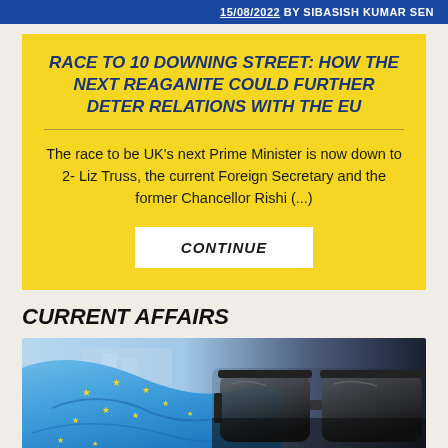15/08/2022 BY SIBASISH KUMAR SEN
RACE TO 10 DOWNING STREET: HOW THE NEXT REAGANITE COULD FURTHER DETER RELATIONS WITH THE EU
The race to be UK's next Prime Minister is now down to 2- Liz Truss, the current Foreign Secretary and the former Chancellor Rishi (...)
CONTINUE
CURRENT AFFAIRS
[Figure (photo): Photo of an EU flag (blue with yellow stars, draped) next to a pair of dark sunglasses, with a blurred background.]